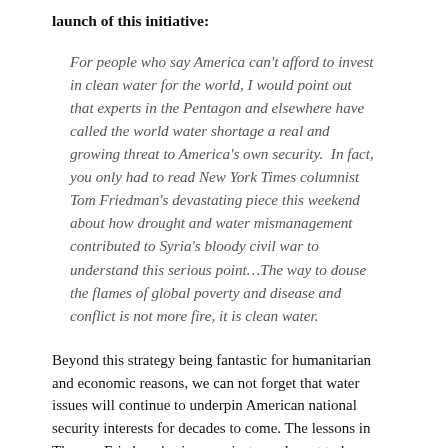launch of this initiative:
For people who say America can't afford to invest in clean water for the world, I would point out that experts in the Pentagon and elsewhere have called the world water shortage a real and growing threat to America's own security.  In fact, you only had to read New York Times columnist Tom Friedman's devastating piece this weekend about how drought and water mismanagement contributed to Syria's bloody civil war to understand this serious point…The way to douse the flames of global poverty and disease and conflict is not more fire, it is clean water.
Beyond this strategy being fantastic for humanitarian and economic reasons, we can not forget that water issues will continue to underpin American national security interests for decades to come. The lessons in Thomas Friedman's piece are just as relevant today as they were when they were written. So the